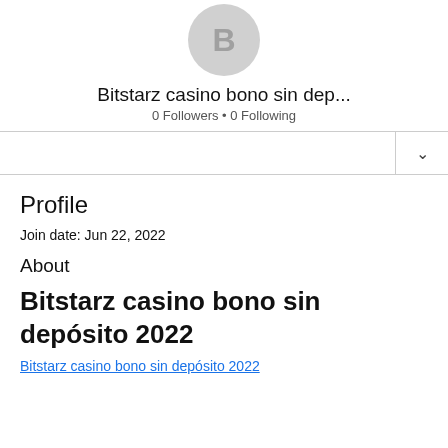[Figure (photo): Circular avatar placeholder with letter B on grey background]
Bitstarz casino bono sin dep...
0 Followers • 0 Following
Profile
Join date: Jun 22, 2022
About
Bitstarz casino bono sin depósito 2022
Bitstarz casino bono sin depósito 2022